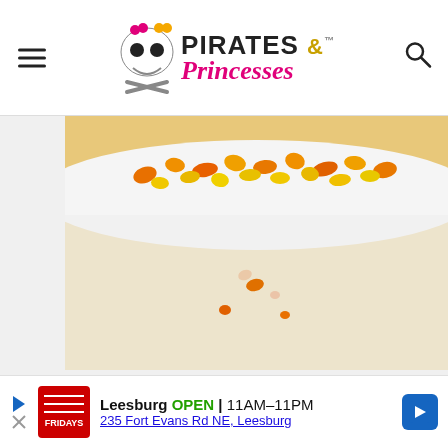Pirates & Princesses — navigation header with logo, hamburger menu, and search icon
[Figure (photo): Close-up photo of orange and yellow candy corn or similar candy pieces on a white surface]
[Figure (photo): Photo of decorative figurines (wizards and characters in silver/gold costumes) displayed in a blue-themed booth or display case with a play button overlay]
Leesburg OPEN 11AM–11PM 235 Fort Evans Rd NE, Leesburg